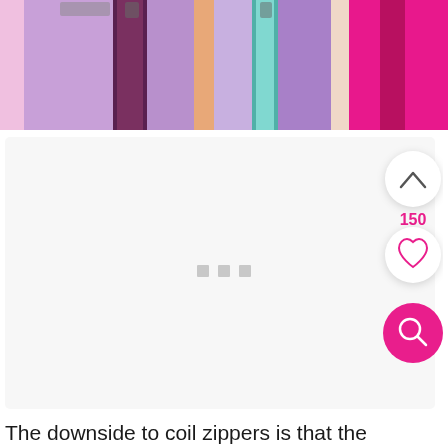[Figure (photo): Close-up photo of colorful coil zippers arranged side by side, showing purple, dark purple, orange, lavender, teal, and pink/hot pink zippers with metallic sliders visible at the top.]
[Figure (screenshot): A mostly white/light gray card area with three small gray square dots in the center, representing a loading or carousel indicator. On the right side are three floating circular buttons: an upward chevron button, a heart/favorite button, and a pink magnifying glass search button. A count of 150 in pink appears between the chevron and heart buttons.]
The downside to coil zippers is that the